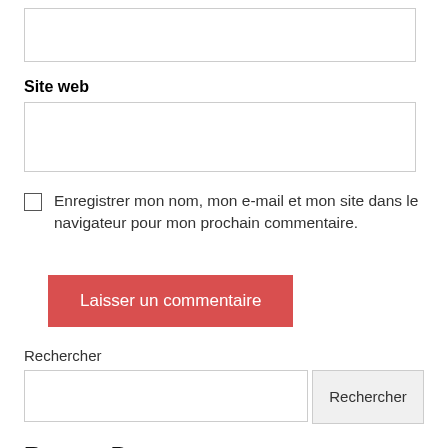[Figure (other): Empty text input box (top of page, no label visible)]
Site web
[Figure (other): Empty text input box for Site web]
Enregistrer mon nom, mon e-mail et mon site dans le navigateur pour mon prochain commentaire.
Laisser un commentaire
Rechercher
Rechercher
Recent Posts